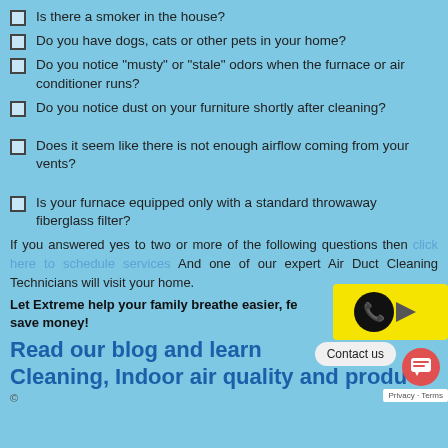Is there a smoker in the house?
Do you have dogs, cats or other pets in your home?
Do you notice "musty" or "stale" odors when the furnace or air conditioner runs?
Do you notice dust on your furniture shortly after cleaning?
Does it seem like there is not enough airflow coming from your vents?
Is your furnace equipped only with a standard throwaway fiberglass filter?
If you answered yes to two or more of the following questions then click here to schedule services And one of our expert Air Duct Cleaning Technicians will visit your home.
Let Extreme help your family breathe easier, feel healthier and save money!
Read our our blog and learn more about Air Duct Cleaning, Indoor air quality and products.
©